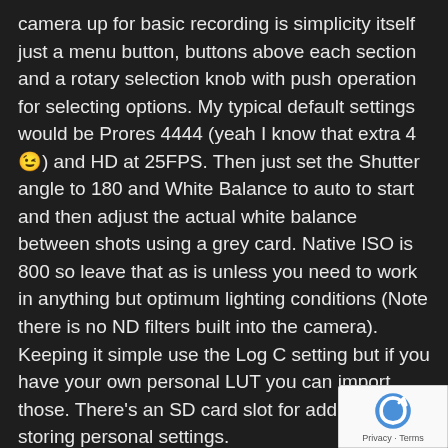camera up for basic recording is simplicity itself just a menu button, buttons above each section and a rotary selection knob with push operation for selecting options. My typical default settings would be Prores 4444 (yeah I know that extra 4 😉) and HD at 25FPS. Then just set the Shutter angle to 180 and White Balance to auto to start and then adjust the actual white balance between shots using a grey card. Native ISO is 800 so leave that as is unless you need to work in anything but optimum lighting conditions (Note there is no ND filters built into the camera). Keeping it simple use the Log C setting but if you have your own personal LUT you can import those. There's an SD card slot for adding and storing personal settings.
I'll go into more detail on actually using the camera in my next post and hopefully there will be a short video to go with it.